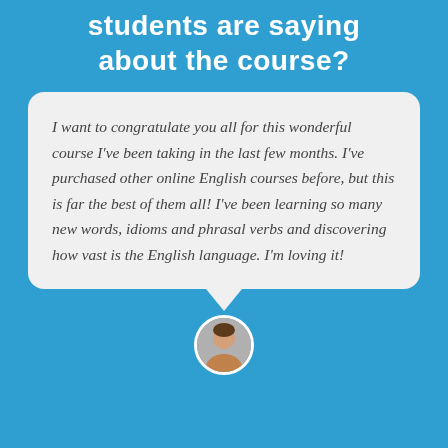students are saying about the course?
I want to congratulate you all for this wonderful course I've been taking in the last few months. I've purchased other online English courses before, but this is far the best of them all! I've been learning so many new words, idioms and phrasal verbs and discovering how vast is the English language. I'm loving it!
[Figure (illustration): Circular avatar photo of a person at the bottom of the page, partially visible, with a white border ring.]